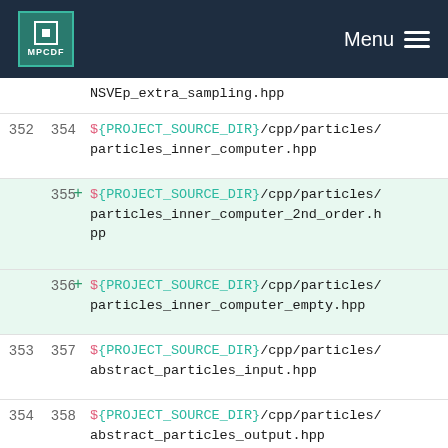MPCDF Menu
NSVEp_extra_sampling.hpp
| old | new | + | code |
| --- | --- | --- | --- |
| 352 | 354 |  | ${PROJECT_SOURCE_DIR}/cpp/particles/particles_inner_computer.hpp |
|  | 355 | + | ${PROJECT_SOURCE_DIR}/cpp/particles/particles_inner_computer_2nd_order.hpp |
|  | 356 | + | ${PROJECT_SOURCE_DIR}/cpp/particles/particles_inner_computer_empty.hpp |
| 353 | 357 |  | ${PROJECT_SOURCE_DIR}/cpp/particles/abstract_particles_input.hpp |
| 354 | 358 |  | ${PROJECT_SOURCE_DIR}/cpp/particles/abstract_particles_output.hpp |
| 355 | 359 |  | ${PROJECT_SOURCE_DIR}/cpp/particles/abstract_particles_system.hpp |